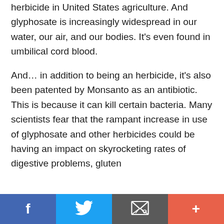Roundup, the most widely used herbicide in United States agriculture. And glyphosate is increasingly widespread in our water, our air, and our bodies. It's even found in umbilical cord blood.
And… in addition to being an herbicide, it's also been patented by Monsanto as an antibiotic. This is because it can kill certain bacteria. Many scientists fear that the rampant increase in use of glyphosate and other herbicides could be having an impact on skyrocketing rates of digestive problems, gluten
[Figure (infographic): Social media sharing bar with four buttons: Facebook (blue), Twitter (light blue), Email/envelope (dark gray), and plus/add (orange-red)]